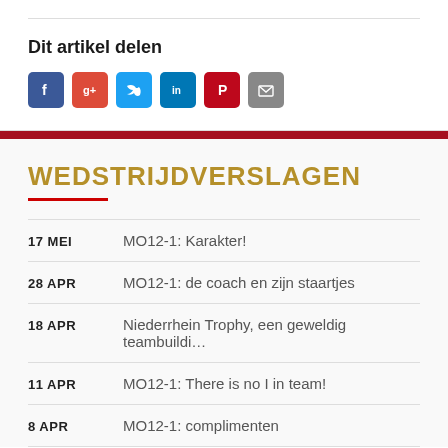Dit artikel delen
[Figure (infographic): Social media share icons: Facebook (blue), Google+ (red), Twitter (blue), LinkedIn (blue), Pinterest (red), Email (grey)]
WEDSTRIJDVERSLAGEN
17 MEI   MO12-1: Karakter!
28 APR   MO12-1: de coach en zijn staartjes
18 APR   Niederrhein Trophy, een geweldig teambuildi...
11 APR   MO12-1: There is no I in team!
8 APR   MO12-1: complimenten